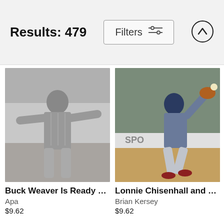Results: 479
Filters
[Figure (photo): Black and white historic baseball photo of Buck Weaver in a pinstripe uniform with arms spread wide, ready to catch a ball on a baseball field.]
Buck Weaver Is Ready To Cat...
Apa
$9.62
[Figure (photo): Color action photo of baseball player Lonnie Chisenhall mid-pitch on a baseball field, wearing a navy Cleveland Indians uniform with a crowd in the background.]
Lonnie Chisenhall and Gordon ...
Brian Kersey
$9.62